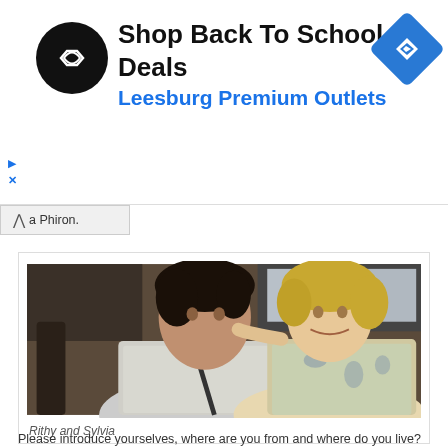[Figure (logo): Advertisement banner: black circular logo with infinity/arrow symbol, text 'Shop Back To School Deals' in bold black and 'Leesburg Premium Outlets' in blue, blue diamond navigation icon on right]
↑ Phiron.
[Figure (photo): Photo of two people: Rithy and Sylvia. An Asian man with dark hair and a white-haired woman leaning on him, smiling, sitting indoors.]
Rithy and Sylvia
Please introduce yourselves, where are you from and where do you live?